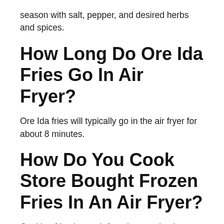season with salt, pepper, and desired herbs and spices.
How Long Do Ore Ida Fries Go In Air Fryer?
Ore Ida fries will typically go in the air fryer for about 8 minutes.
How Do You Cook Store Bought Frozen Fries In An Air Fryer?
Cooking fries in an air fryer is very simple. Preheat the air fryer to 390 degrees, spread the frozen fries in a single layer on the tray,